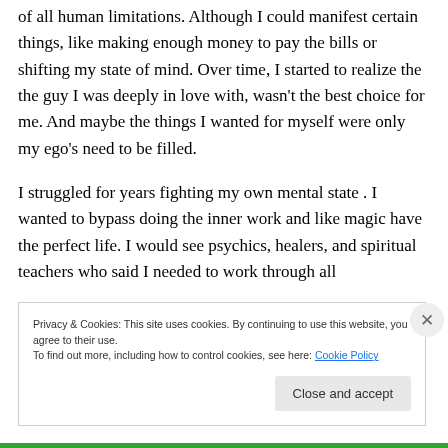of all human limitations. Although I could manifest certain things, like making enough money to pay the bills or shifting my state of mind. Over time, I started to realize the the guy I was deeply in love with, wasn't the best choice for me. And maybe the things I wanted for myself were only my ego's need to be filled.
I struggled for years fighting my own mental state . I wanted to bypass doing the inner work and like magic have the perfect life. I would see psychics, healers, and spiritual teachers who said I needed to work through all
Privacy & Cookies: This site uses cookies. By continuing to use this website, you agree to their use.
To find out more, including how to control cookies, see here: Cookie Policy